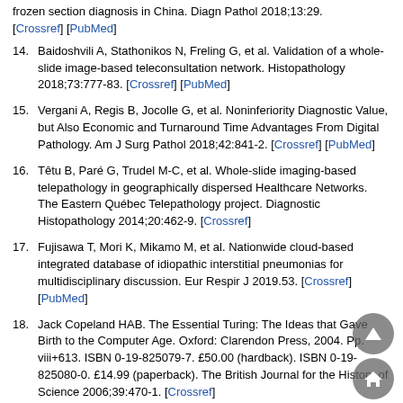frozen section diagnosis in China. Diagn Pathol 2018;13:29. [Crossref] [PubMed]
14. Baidoshvili A, Stathonikos N, Freling G, et al. Validation of a whole-slide image-based teleconsultation network. Histopathology 2018;73:777-83. [Crossref] [PubMed]
15. Vergani A, Regis B, Jocolle G, et al. Noninferiority Diagnostic Value, but Also Economic and Turnaround Time Advantages From Digital Pathology. Am J Surg Pathol 2018;42:841-2. [Crossref] [PubMed]
16. Têtu B, Paré G, Trudel M-C, et al. Whole-slide imaging-based telepathology in geographically dispersed Healthcare Networks. The Eastern Québec Telepathology project. Diagnostic Histopathology 2014;20:462-9. [Crossref]
17. Fujisawa T, Mori K, Mikamo M, et al. Nationwide cloud-based integrated database of idiopathic interstitial pneumonias for multidisciplinary discussion. Eur Respir J 2019.53. [Crossref] [PubMed]
18. Jack Copeland HAB. The Essential Turing: The Ideas that Gave Birth to the Computer Age. Oxford: Clarendon Press, 2004. Pp. viii+613. ISBN 0-19-825079-7. £50.00 (hardback). ISBN 0-19-825080-0. £14.99 (paperback). The British Journal for the History of Science 2006;39:470-1. [Crossref]
19. McCarthy J, Minsky ML, Rochester N, et al. A Proposal for the Dartmouth Summer Research Project on Artificial Intelligence. August 31, 1955. Available online: